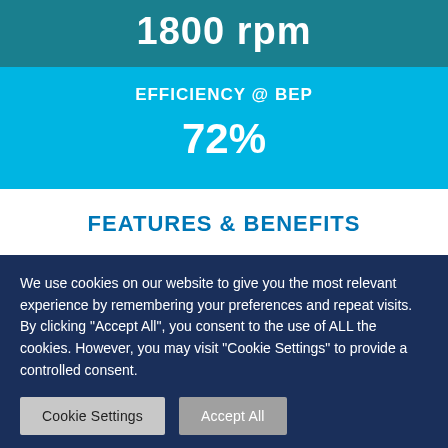1800 rpm
EFFICIENCY @ BEP
72%
FEATURES & BENEFITS
We use cookies on our website to give you the most relevant experience by remembering your preferences and repeat visits. By clicking "Accept All", you consent to the use of ALL the cookies. However, you may visit "Cookie Settings" to provide a controlled consent.